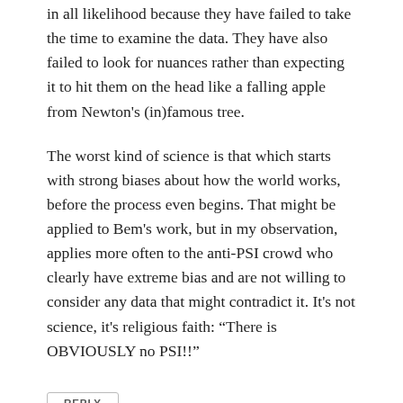in all likelihood because they have failed to take the time to examine the data. They have also failed to look for nuances rather than expecting it to hit them on the head like a falling apple from Newton's (in)famous tree.
The worst kind of science is that which starts with strong biases about how the world works, before the process even begins. That might be applied to Bem's work, but in my observation, applies more often to the anti-PSI crowd who clearly have extreme bias and are not willing to consider any data that might contradict it. It's not science, it's religious faith: “There is OBVIOUSLY no PSI!!”
REPLY
Pingback: The control group is out of control (2014)